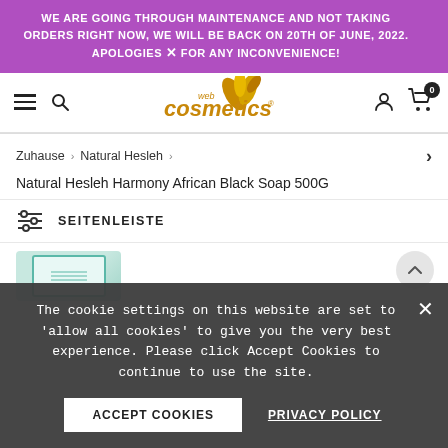WE ARE GOING THROUGH MAINTENANCE AND NOT TAKING ORDERS RIGHT NOW, WE WILL BE BACK ON 20TH OF JUNE, 2022. APOLOGIES FOR ANY INCONVENIENCE!
[Figure (logo): Web Cosmetics logo with golden leaf design and text 'web cosmetics']
Zuhause > Natural Hesleh >
Natural Hesleh Harmony African Black Soap 500G
SEITENLEISTE
The cookie settings on this website are set to 'allow all cookies' to give you the very best experience. Please click Accept Cookies to continue to use the site.